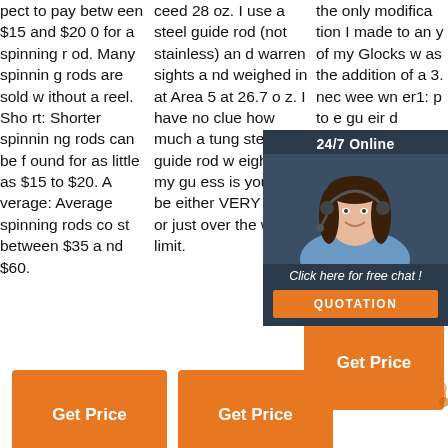pect to pay between $15 and $200 for a spinning rod. Many spinning rods are sold without a reel. Short: Shorter spinning rods can be found for as little as $15 to $20. Average: Average spinning rods cost between $35 and $60.
ceed 28 oz. I use a steel guide rod (not stainless) and warren sights and weighed in at Area 5 at 26.7 oz. I have no clue how much a tungsten guide rod weighs, but my guess is you will be either VERY close or just over the weight limit.
the only modification I made to any of my Glocks was the addition of a 3.
[Figure (photo): Customer service representative woman wearing headset, smiling, with '24/7 Online' header and 'Click here for free chat!' text and orange QUOTATION button on dark navy background widget]
Get Price
Get Price
Get Price